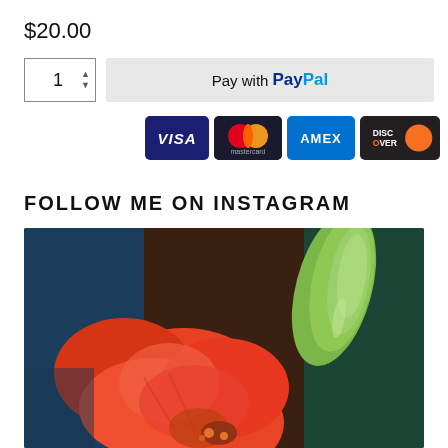$20.00
[Figure (screenshot): Quantity selector input box showing '1' with up/down arrows, and a PayPal payment button]
[Figure (screenshot): Payment card logos: VISA, Mastercard, AMEX, DISCOVER]
FOLLOW ME ON INSTAGRAM
[Figure (photo): Close-up photo of a bright orange flower (nasturtium) with a green seed pod in the background against a dark teal backdrop]